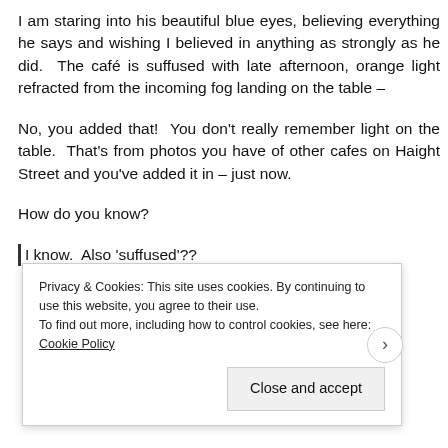I am staring into his beautiful blue eyes, believing everything he says and wishing I believed in anything as strongly as he did.  The café is suffused with late afternoon, orange light refracted from the incoming fog landing on the table –
No, you added that!  You don't really remember light on the table.  That's from photos you have of other cafes on Haight Street and you've added it in – just now.
How do you know?
I know.  Also 'suffused'??
Privacy & Cookies: This site uses cookies. By continuing to use this website, you agree to their use.
To find out more, including how to control cookies, see here: Cookie Policy
Close and accept